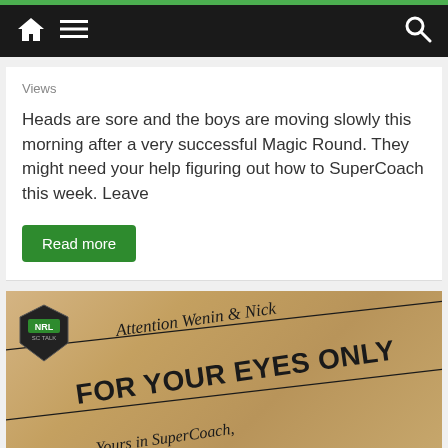Navigation bar with home, menu, and search icons
Views
Heads are sore and the boys are moving slowly this morning after a very successful Magic Round. They might need your help figuring out how to SuperCoach this week. Leave
Read more
[Figure (illustration): Parchment-style image with NRL SC Talk badge in top left. Text reads 'Attention Wenin & Nick' in italic, 'FOR YOUR EYES ONLY' in bold, and 'Yours in SuperCoach,' in italic script below, all on a diagonal on a tan/brown parchment background.]